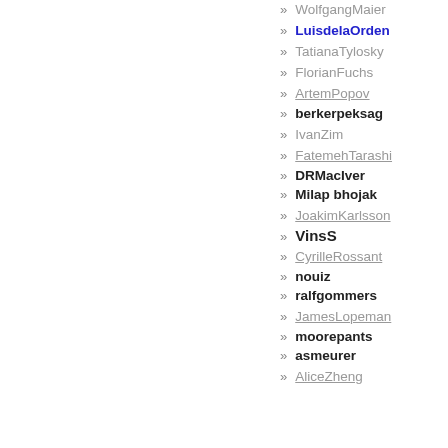WolfgangMaier
LuisdelaOrden
TatianaTylosky
FlorianFuchs
ArtemPopov
berkerpeksag
IvanZim
FatemehTarashi
DRMacIver
Milap bhojak
JoakimKarlsson
VinsS
CyrilleRossant
nouiz
ralfgommers
JamesLopeman
moorepants
asmeurer
AliceZheng